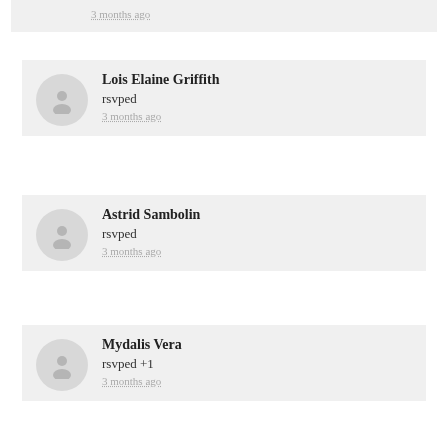3 months ago
Lois Elaine Griffith
rsvped
3 months ago
Astrid Sambolin
rsvped
3 months ago
Mydalis Vera
rsvped +1
3 months ago